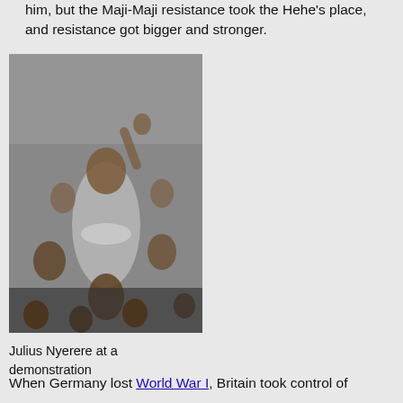him, but the Maji-Maji resistance took the Hehe's place, and resistance got bigger and stronger.
[Figure (photo): Black and white photograph of Julius Nyerere at a demonstration, with a crowd behind him and a sign reading 'COMPLETE INDEPENDENCE 1961' visible in the background.]
Julius Nyerere at a demonstration
When Germany lost World War I, Britain took control of